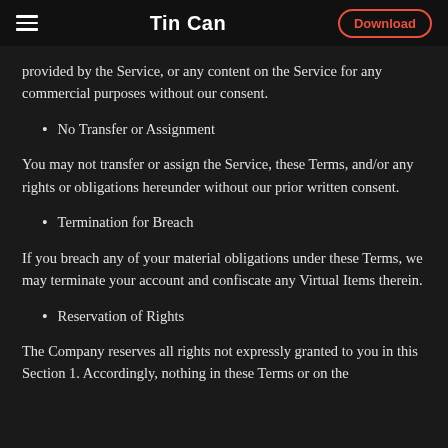Tin Can | Download
provided by the Service, or any content on the Service for any commercial purposes without our consent.
No Transfer or Assignment
You may not transfer or assign the Service, these Terms, and/or any rights or obligations hereunder without our prior written consent.
Termination for Breach
If you breach any of your material obligations under these Terms, we may terminate your account and confiscate any Virtual Items therein.
Reservation of Rights
The Company reserves all rights not expressly granted to you in this Section 1. Accordingly, nothing in these Terms or on the